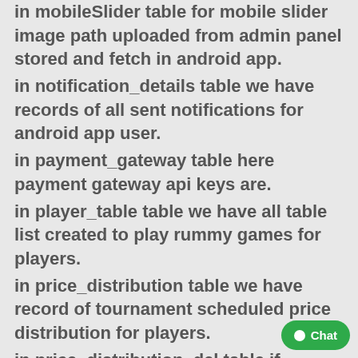in mobileSlider table for mobile slider image path uploaded from admin panel stored and fetch in android app.
in notification_details table we have records of all sent notifications for android app user.
in payment_gateway table here payment gateway api keys are.
in player_table table we have all table list created to play rummy games for players.
in price_distribution table we have record of tournament scheduled price distribution for players.
in price_distribution_del table if tournament deleted then their kept price values will moved here.